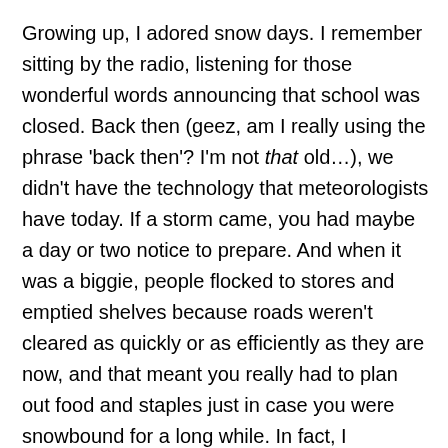Growing up, I adored snow days. I remember sitting by the radio, listening for those wonderful words announcing that school was closed. Back then (geez, am I really using the phrase 'back then'? I'm not that old…), we didn't have the technology that meteorologists have today. If a storm came, you had maybe a day or two notice to prepare. And when it was a biggie, people flocked to stores and emptied shelves because roads weren't cleared as quickly or as efficiently as they are now, and that meant you really had to plan out food and staples just in case you were snowbound for a long while. In fact, I remember blizzards when you had one narrow path down the street for cars to pass through one at a time. And it stayed that way until the temperature warmed enough to melt it away, sometimes a week or longer.